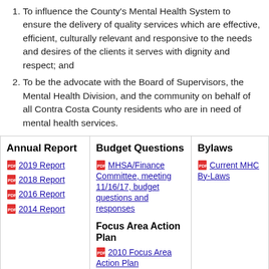To influence the County's Mental Health System to ensure the delivery of quality services which are effective, efficient, culturally relevant and responsive to the needs and desires of the clients it serves with dignity and respect; and
To be the advocate with the Board of Supervisors, the Mental Health Division, and the community on behalf of all Contra Costa County residents who are in need of mental health services.
| Annual Report | Budget Questions | Bylaws |
| --- | --- | --- |
| 2019 Report
2018 Report
2016 Report
2014 Report | MHSA/Finance Committee, meeting 11/16/17, budget questions and responses

Focus Area Action Plan
2010 Focus Area Action Plan | Current MHC By-Laws |